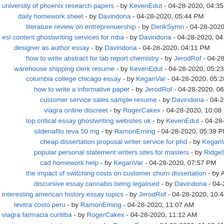university of phoenix research papers - by KevenEdut - 04-28-2020, 04:35
daily homework sheet - by Davindona - 04-28-2020, 05:44 PM
literature review on entreprenuership - by DerikSymn - 04-28-2020, 07:
esl content ghostwriting services for mba - by Davindona - 04-28-2020, 04:0
designer as author essay - by Davindona - 04-28-2020, 04:11 PM
how to write abstract for lab report chemistry - by JerodRof - 04-28-20
warehouse shipping clerk resume - by KevenEdut - 04-28-2020, 05:23 PM
columbia college chicago essay - by KeganVar - 04-28-2020, 05:28 PM
how to write a informative paper - by JerodRof - 04-28-2020, 06:05 PM
customer service sales sample resume - by Davindona - 04-28-20
viagra online discreet - by RogerCakex - 04-28-2020, 10:08 PM
top critical essay ghostwriting websites uk - by KevenEdut - 04-28-202
sildenafilo teva 50 mg - by RamonEming - 04-28-2020, 05:39 PM
cheap dissertation proposal writer service for phd - by KeganVa
popular personal statement writers sites for masters - by RidgeSr
cad homework help - by KeganVar - 04-28-2020, 07:57 PM
the impact of switching costs on customer churn dissertation - by A
discursive essay cannabis being legalised - by Davindona - 04-28-2
interesting american history essay topics - by JerodRof - 04-28-2020, 10:44 AM
levitra costo peru - by RamonEming - 04-28-2020, 11:07 AM
viagra farmacia curitiba - by RogerCakex - 04-28-2020, 11:12 AM
viagra presentacion y precios - by RamonEming - 04-28-2020, 11:19 AM
cheap assignment proofreading service uk - by KeganVar - 04-28-2020,
popular essays proofreading website for college - by RidgeSr - 04-28